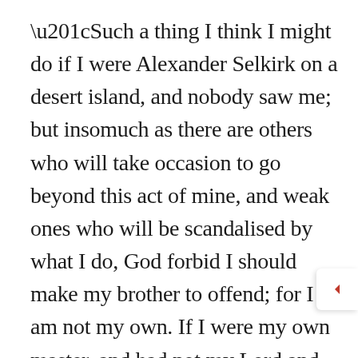“Such a thing I think I might do if I were Alexander Selkirk on a desert island, and nobody saw me; but insomuch as there are others who will take occasion to go beyond this act of mine, and weak ones who will be scandalised by what I do, God forbid I should make my brother to offend; for I am not my own. If I were my own master, and had not my Lord and his cause to consider, I might do a thousand things; but I will deny myself many lawful things for his sake, and the sake of his church, for I am not my own; I will deny myself even